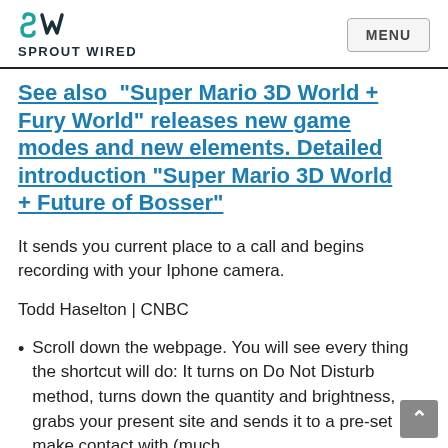SPROUT WIRED | MENU
See also  "Super Mario 3D World + Fury World" releases new game modes and new elements. Detailed introduction "Super Mario 3D World + Future of Bosser"
It sends you current place to a call and begins recording with your Iphone camera.
Todd Haselton | CNBC
Scroll down the webpage. You will see every thing the shortcut will do: It turns on Do Not Disturb method, turns down the quantity and brightness, grabs your present site and sends it to a pre-set make contact with (much